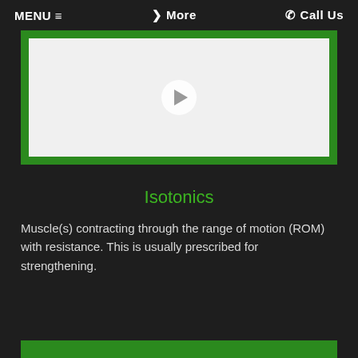MENU ≡   ❯ More   ✆ Call Us
[Figure (screenshot): Video player with green border and play button on light gray background]
Isotonics
Muscle(s) contracting through the range of motion (ROM) with resistance. This is usually prescribed for strengthening.